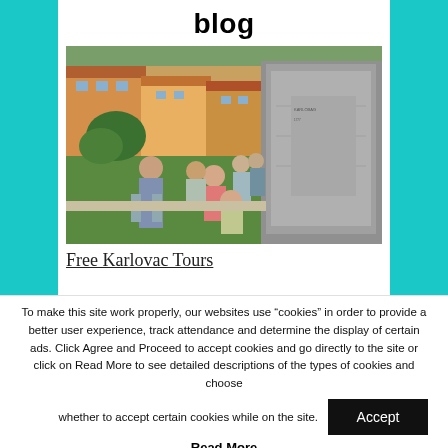blog
[Figure (photo): Group of tourists and young people gathered around a stone monument pedestal in a city square, with colorful European-style buildings in the background. People are sitting and standing on grass examining the monument.]
Free Karlovac Tours
To make this site work properly, our websites use “cookies” in order to provide a better user experience, track attendance and determine the display of certain ads. Click Agree and Proceed to accept cookies and go directly to the site or click on Read More to see detailed descriptions of the types of cookies and choose whether to accept certain cookies while on the site.
Read More